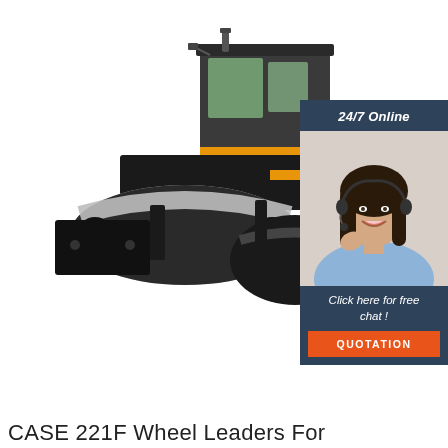[Figure (photo): CASE road roller / soil compactor machine, black and grey, with green cab, photographed on white background]
[Figure (photo): Chat widget with dark blue background showing a smiling woman with headset, '24/7 Online' text, 'Click here for free chat!' text, and an orange 'QUOTATION' button]
CASE 221F Wheel Leaders For